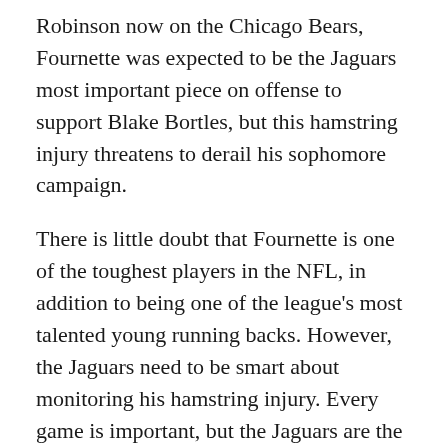Robinson now on the Chicago Bears, Fournette was expected to be the Jaguars most important piece on offense to support Blake Bortles, but this hamstring injury threatens to derail his sophomore campaign.
There is little doubt that Fournette is one of the toughest players in the NFL, in addition to being one of the league's most talented young running backs. However, the Jaguars need to be smart about monitoring his hamstring injury. Every game is important, but the Jaguars are the favorites in the AFC South and can do enough to win without him, as they showed in Week 2 against the Pats. Managing his health for the remainder of the season should be a priority.
Next: The Fastest 40 Yard Dash Times In NFL History
Before exiting the game with another hamstring issue,